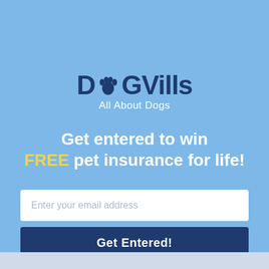[Figure (logo): DogVills logo with paw print icon replacing the letter 'o', text reads 'DogVills' in dark navy, subtitle 'All About Dogs' in white]
Get entered to win FREE pet insurance for life!
Enter your email address
Get Entered!